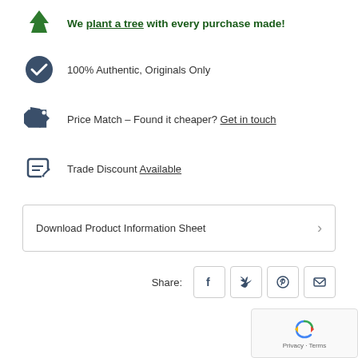We plant a tree with every purchase made!
100% Authentic, Originals Only
Price Match – Found it cheaper? Get in touch
Trade Discount Available
Download Product Information Sheet
Share: